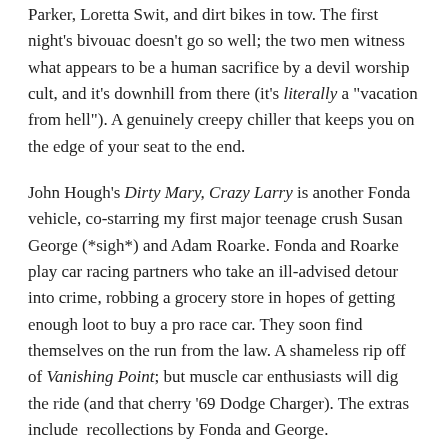Parker, Loretta Swit, and dirt bikes in tow. The first night's bivouac doesn't go so well; the two men witness what appears to be a human sacrifice by a devil worship cult, and it's downhill from there (it's literally a "vacation from hell"). A genuinely creepy chiller that keeps you on the edge of your seat to the end.
John Hough's Dirty Mary, Crazy Larry is another Fonda vehicle, co-starring my first major teenage crush Susan George (*sigh*) and Adam Roarke. Fonda and Roarke play car racing partners who take an ill-advised detour into crime, robbing a grocery store in hopes of getting enough loot to buy a pro race car. They soon find themselves on the run from the law. A shameless rip off of Vanishing Point; but muscle car enthusiasts will dig the ride (and that cherry '69 Dodge Charger). The extras include  recollections by Fonda and George.
SHARE THIS: